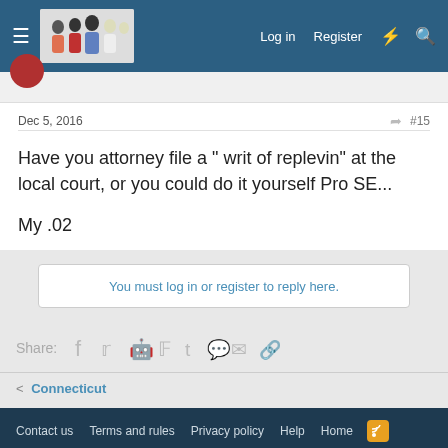Log in  Register
Dec 5, 2016  #15
Have you attorney file a " writ of replevin" at the local court, or you could do it yourself Pro SE...

My .02
You must log in or register to reply here.
Share:
Connecticut
Contact us  Terms and rules  Privacy policy  Help  Home
Community platform by XenForo® © 2010-2022 XenForo Ltd.